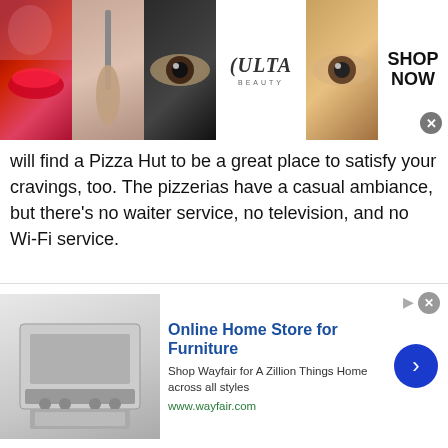[Figure (photo): Ulta Beauty advertisement banner showing makeup imagery (lips, brush, eyes) with ULTA logo and SHOP NOW call to action]
will find a Pizza Hut to be a great place to satisfy your cravings, too. The pizzerias have a casual ambiance, but there's no waiter service, no television, and no Wi-Fi service.
Above are the latest Pizza Hut (UK) menu prices.
[Figure (infographic): Share count showing 0 Shares with social sharing buttons below]
[Figure (infographic): Wayfair advertisement: Online Home Store for Furniture - Shop Wayfair for A Zillion Things Home across all styles - www.wayfair.com]